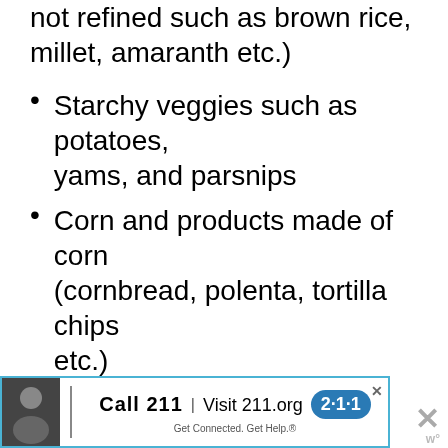not refined such as brown rice, millet, amaranth etc.)
Starchy veggies such as potatoes, yams, and parsnips
Corn and products made of corn (cornbread, polenta, tortilla chips etc.)
Depending on your activity level and amount of candida present, your healthcare provider may also recommend that you remove fresh